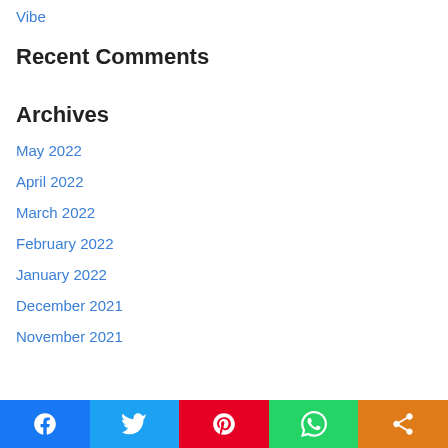Vibe
Recent Comments
Archives
May 2022
April 2022
March 2022
February 2022
January 2022
December 2021
November 2021
Facebook | Twitter | Pinterest | WhatsApp | Share